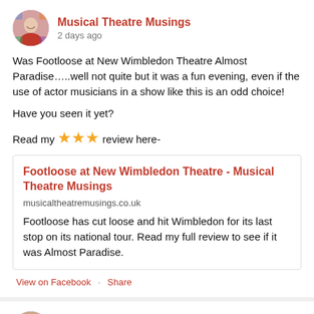Musical Theatre Musings · 2 days ago
Was Footloose at New Wimbledon Theatre Almost Paradise…..well not quite but it was a fun evening, even if the use of actor musicians in a show like this is an odd choice!
Have you seen it yet?
Read my ★★★ review here-
[Figure (screenshot): Link card preview for 'Footloose at New Wimbledon Theatre - Musical Theatre Musings' from musicaltheatremusings.co.uk with description: Footloose has cut loose and hit Wimbledon for its last stop on its national tour. Read my full review to see if it was Almost Paradise.]
View on Facebook · Share
Musical Theatre Musings · 3 weeks ago